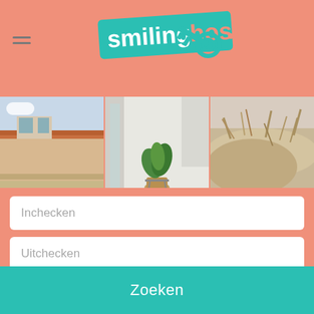[Figure (logo): Smilinghost logo: teal/turquoise rounded rectangle with 'smilinghost' text in white bold font, with a teal key icon to the right]
[Figure (photo): Three photo panels side by side: left shows Dutch rooftops with red tiles, center shows white interior with green potted plant, right shows sandy dunes or beach grass]
Inchecken
Uitchecken
Gasten
Zoeken